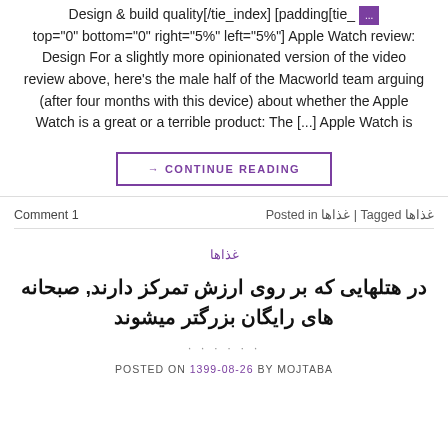Design & build quality[/tie_index] [padding[tie_ top="0" bottom="0" right="5%" left="5%"] Apple Watch review: Design For a slightly more opinionated version of the video review above, here's the male half of the Macworld team arguing (after four months with this device) about whether the Apple Watch is a great or a terrible product: The [...] Apple Watch is
→ CONTINUE READING
Comment 1   غذاها Tagged | غذاها Posted in
غذاها
در هتلهایی که بر روی ارزش تمرکز دارند, صبحانه های رایگان بزرگتر میشوند
· · · · · ·
POSTED ON 1399-08-26 BY MOJTABA